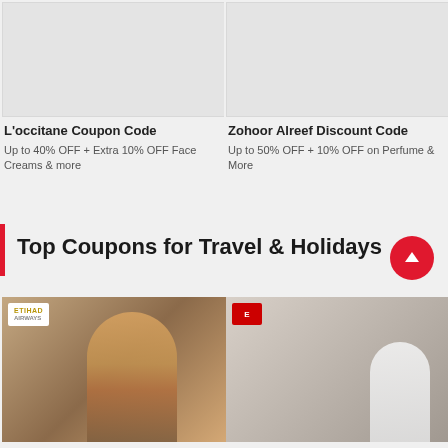[Figure (photo): L'occitane product/brand image placeholder (light gray)]
L'occitane Coupon Code
Up to 40% OFF + Extra 10% OFF Face Creams & more
[Figure (photo): Zohoor Alreef product/brand image placeholder (light gray)]
Zohoor Alreef Discount Code
Up to 50% OFF + 10% OFF on Perfume & More
Top Coupons for Travel & Holidays
[Figure (photo): Etihad Airways card image showing a man in traditional Arab attire seated in a luxury airplane cabin]
[Figure (photo): Emirates card image showing an Emirates crew member wearing a mask near an airplane]